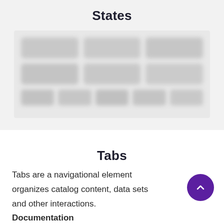States
[Figure (screenshot): A blurred screenshot showing a UI states grid with multiple rows and columns of blurred interface elements on a light grey background]
Tabs
Tabs are a navigational element organizes catalog content, data sets and other interactions.
Documentation